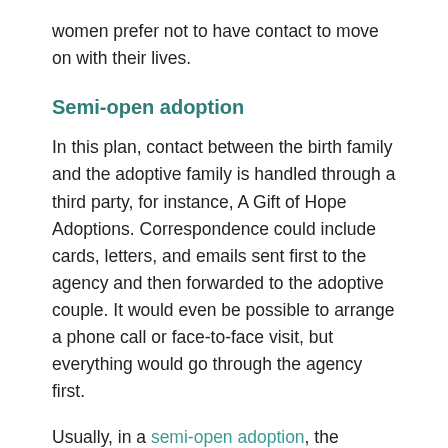women prefer not to have contact to move on with their lives.
Semi-open adoption
In this plan, contact between the birth family and the adoptive family is handled through a third party, for instance, A Gift of Hope Adoptions. Correspondence could include cards, letters, and emails sent first to the agency and then forwarded to the adoptive couple. It would even be possible to arrange a phone call or face-to-face visit, but everything would go through the agency first.
Usually, in a semi-open adoption, the adoptive couple and the birth family only know one another